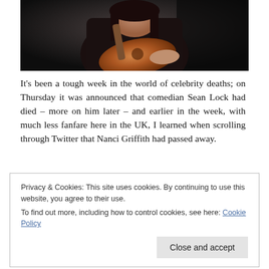[Figure (photo): Person holding an acoustic guitar, wearing dark clothing, photographed against a dark background.]
It's been a tough week in the world of celebrity deaths; on Thursday it was announced that comedian Sean Lock had died – more on him later – and earlier in the week, with much less fanfare here in the UK, I learned when scrolling through Twitter that Nanci Griffith had passed away.
Privacy & Cookies: This site uses cookies. By continuing to use this website, you agree to their use.
To find out more, including how to control cookies, see here: Cookie Policy
Close and accept